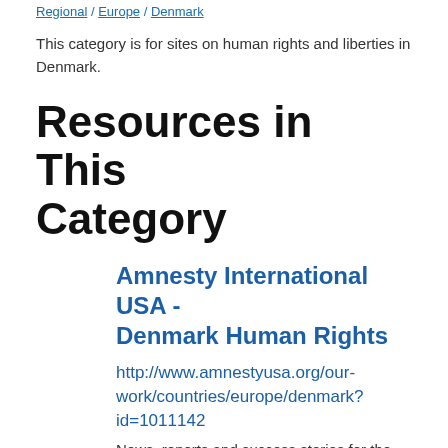Regional / Europe / Denmark
This category is for sites on human rights and liberties in Denmark.
Resources in This Category
Amnesty International USA - Denmark Human Rights
http://www.amnestyusa.org/our-work/countries/europe/denmark?id=1011142
News, reports and success stories for the country including AI Annual Report entries for the past ten years.